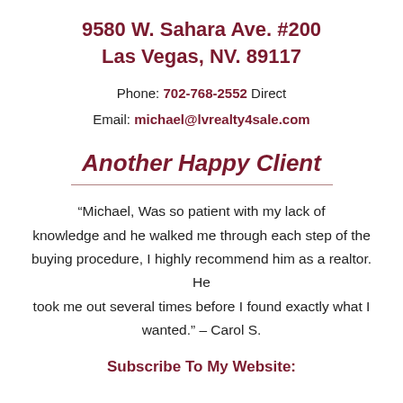9580 W. Sahara Ave. #200
Las Vegas, NV. 89117
Phone: 702-768-2552 Direct
Email: michael@lvrealty4sale.com
Another Happy Client
“Michael, Was so patient with my lack of knowledge and he walked me through each step of the buying procedure, I highly recommend him as a realtor. He took me out several times before I found exactly what I wanted.” – Carol S.
Subscribe To My Website: